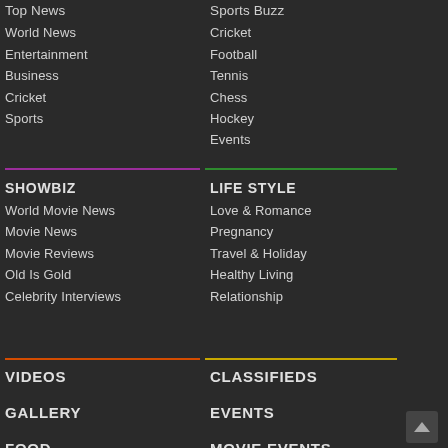Top News
World News
Entertainment
Business
Cricket
Sports
Sports Buzz
Cricket
Football
Tennis
Chess
Hockey
Events
SHOWBIZ
World Movie News
Movie News
Movie Reviews
Old Is Gold
Celebrity Interviews
LIFE STYLE
Love & Romance
Pregnancy
Travel & Holiday
Healthy Living
Relationship
VIDEOS
GALLERY
FOOD
CLASSIFIEDS
EVENTS
MOVIE EVENTS